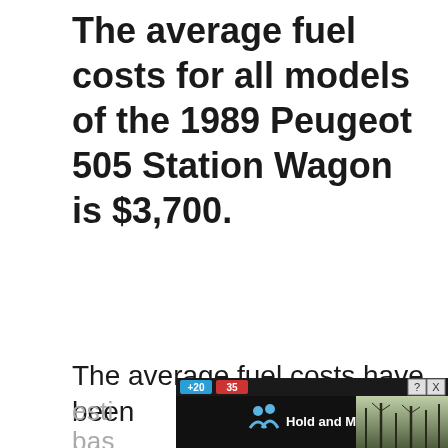The average fuel costs for all models of the 1989 Peugeot 505 Station Wagon is $3,700.
The average fuel costs have been esti bas
[Figure (screenshot): Partially visible advertisement overlay showing a mobile app or game with scores '+20' and '35', an icon with two figures and 'Hold and Move' text, over a background photo of bare winter trees.]